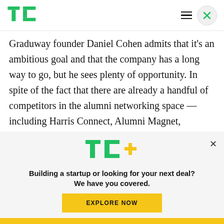[Figure (logo): TechCrunch TC logo in green, top left header]
Graduway founder Daniel Cohen admits that it’s an ambitious goal and that the company has a long way to go, but he sees plenty of opportunity. In spite of the fact that there are already a handful of competitors in the alumni networking space — including Harris Connect, Alumni Magnet, iModules
[Figure (logo): TC+ logo with green TC and yellow plus sign, inside paywall banner]
Building a startup or looking for your next deal? We have you covered.
EXPLORE NOW